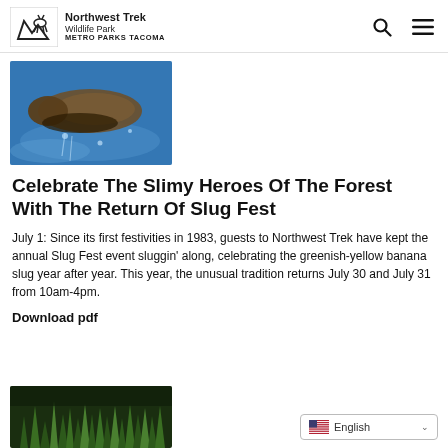Northwest Trek Wildlife Park METRO PARKS TACOMA
[Figure (photo): Close-up photo of a slug on a blue surface with water droplets]
Celebrate The Slimy Heroes Of The Forest With The Return Of Slug Fest
July 1: Since its first festivities in 1983, guests to Northwest Trek have kept the annual Slug Fest event sluggin' along, celebrating the greenish-yellow banana slug year after year. This year, the unusual tradition returns July 30 and July 31 from 10am-4pm.
Download pdf
[Figure (photo): Photo of green vegetation or forest foliage]
English